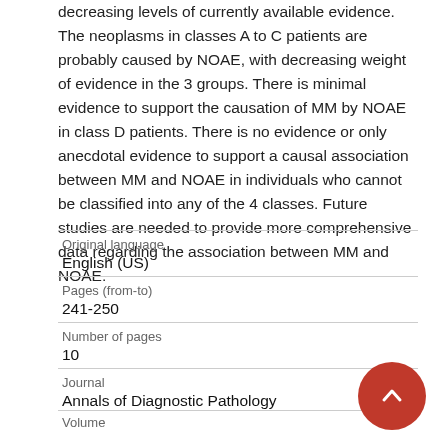decreasing levels of currently available evidence. The neoplasms in classes A to C patients are probably caused by NOAE, with decreasing weight of evidence in the 3 groups. There is minimal evidence to support the causation of MM by NOAE in class D patients. There is no evidence or only anecdotal evidence to support a causal association between MM and NOAE in individuals who cannot be classified into any of the 4 classes. Future studies are needed to provide more comprehensive data regarding the association between MM and NOAE.
| Field | Value |
| --- | --- |
| Original language | English (US) |
| Pages (from-to) | 241-250 |
| Number of pages | 10 |
| Journal | Annals of Diagnostic Pathology |
| Volume |  |